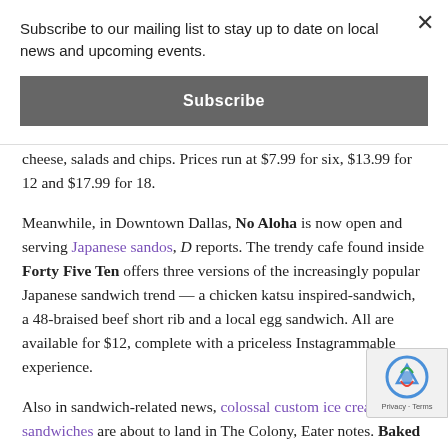Subscribe to our mailing list to stay up to date on local news and upcoming events.
Subscribe
cheese, salads and chips. Prices run at $7.99 for six, $13.99 for 12 and $17.99 for 18.
Meanwhile, in Downtown Dallas, No Aloha is now open and serving Japanese sandos, D reports. The trendy cafe found inside Forty Five Ten offers three versions of the increasingly popular Japanese sandwich trend — a chicken katsu inspired-sandwich, a 48-braised beef short rib and a local egg sandwich. All are available for $12, complete with a priceless Instagrammable experience.
Also in sandwich-related news, colossal custom ice cream sandwiches are about to land in The Colony, Eater notes. Baked Bear is debuting at 5752 Grandscape Boulevard, the chain's first Dallas location and fifth in Texas. The concept